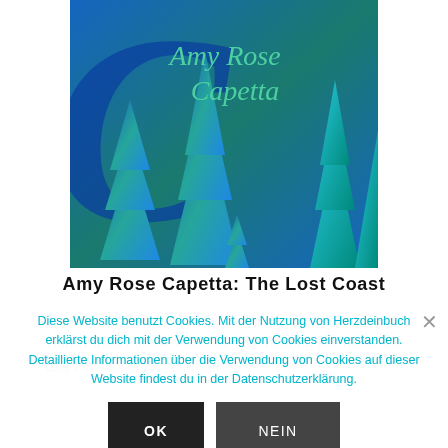[Figure (illustration): Book cover image for 'The Lost Coast' by Amy Rose Capetta — features blue and teal illustrated pine trees, large stylized letter in blue, and the author name in green italic script on a blue/teal background.]
Amy Rose Capetta: The Lost Coast
Danny didn't know what she was looking for when she and her mother spread out
Diese Website benutzt Cookies. Mit der Nutzung von Herzdeinbuch erklärst du dich mit der Verwendung von Cookies einverstanden. Detaillierte Informationen über die Verwendung von Cookies auf dieser Website findest du in der Datenschutzerklärung.